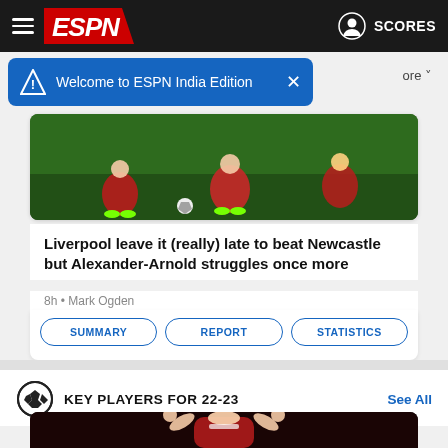ESPN — Welcome to ESPN India Edition | SCORES
[Figure (screenshot): ESPN mobile app screenshot showing navigation bar with hamburger menu, ESPN logo, user icon and SCORES link. Blue notification banner 'Welcome to ESPN India Edition'. Soccer match photo of Liverpool players in red. Article: 'Liverpool leave it (really) late to beat Newcastle but Alexander-Arnold struggles once more' by Mark Ogden, 8h ago. SUMMARY, REPORT, STATISTICS buttons. KEY PLAYERS FOR 22-23 section with See All link. Arsenal player (Martin Odegaard) celebrating with fists raised.]
Liverpool leave it (really) late to beat Newcastle but Alexander-Arnold struggles once more
8h • Mark Ogden
KEY PLAYERS FOR 22-23